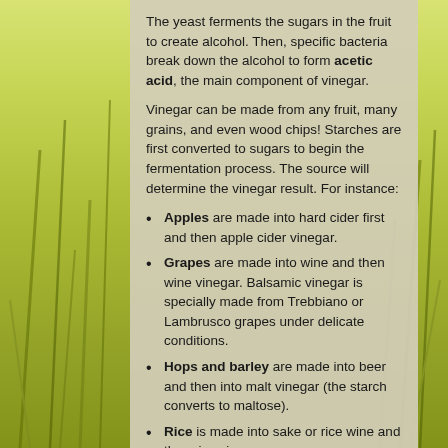[Figure (photo): Background photo of green wheat/grain field with yellow-green tint]
The yeast ferments the sugars in the fruit to create alcohol. Then, specific bacteria break down the alcohol to form acetic acid, the main component of vinegar.
Vinegar can be made from any fruit, many grains, and even wood chips! Starches are first converted to sugars to begin the fermentation process. The source will determine the vinegar result. For instance:
Apples are made into hard cider first and then apple cider vinegar.
Grapes are made into wine and then wine vinegar. Balsamic vinegar is specially made from Trebbiano or Lambrusco grapes under delicate conditions.
Hops and barley are made into beer and then into malt vinegar (the starch converts to maltose).
Rice is made into sake or rice wine and then rice vinegar.